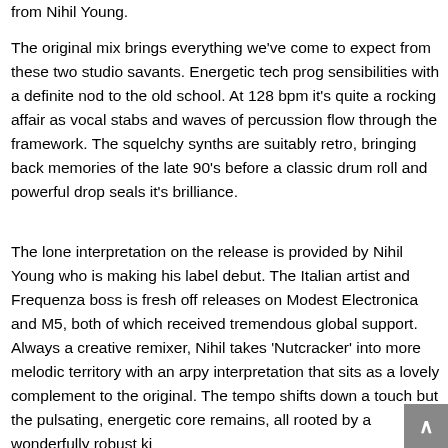from Nihil Young.
The original mix brings everything we've come to expect from these two studio savants. Energetic tech prog sensibilities with a definite nod to the old school. At 128 bpm it's quite a rocking affair as vocal stabs and waves of percussion flow through the framework. The squelchy synths are suitably retro, bringing back memories of the late 90's before a classic drum roll and powerful drop seals it's brilliance.
The lone interpretation on the release is provided by Nihil Young who is making his label debut. The Italian artist and Frequenza boss is fresh off releases on Modest Electronica and M5, both of which received tremendous global support. Always a creative remixer, Nihil takes 'Nutcracker' into more melodic territory with an arpy interpretation that sits as a lovely complement to the original. The tempo shifts down a touch but the pulsating, energetic core remains, all rooted by a wonderfully robust ki...